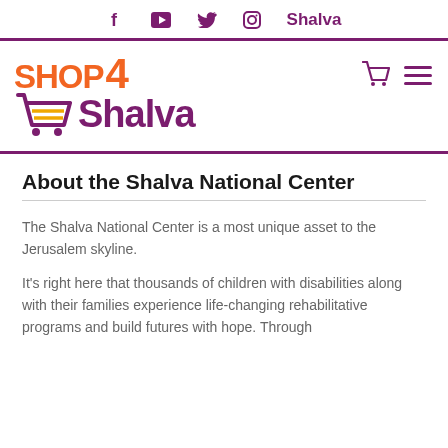f  ▶  🐦  📷  Shalva
[Figure (logo): Shop 4 Shalva logo with shopping cart icon, orange and purple colors]
About the Shalva National Center
The Shalva National Center is a most unique asset to the Jerusalem skyline.
It's right here that thousands of children with disabilities along with their families experience life-changing rehabilitative programs and build futures with hope. Through